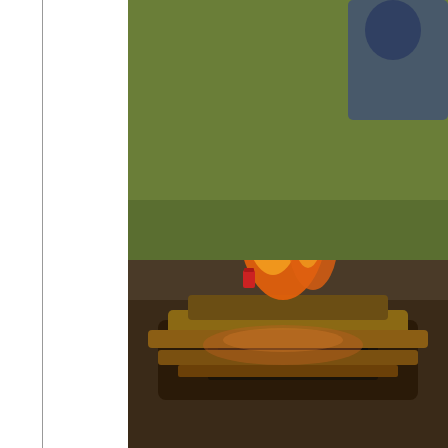[Figure (photo): Outdoor bonfire scene with burning logs, grass visible in background, person partially visible at top right]
Day 4- Hurry Hard Amber Lager by the fi...
From Toronto, ON it is a tasty easy drinki... of Curling.
"Hurry Hard", for those that live outside o... tell the sweepers to sweep harder and fas...
I will be indulging in more over this Canad...